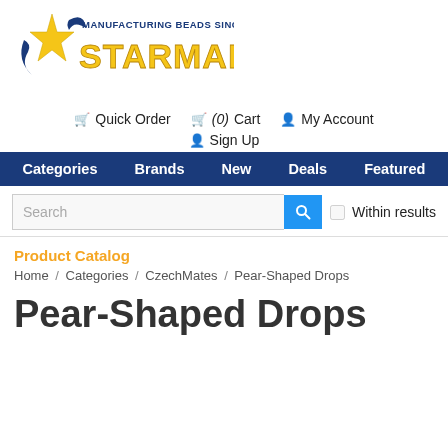[Figure (logo): Starman logo with gold star and text 'STARMAN' in gold, 'MANUFACTURING BEADS SINCE 1948' in navy blue]
Quick Order  (0) Cart  My Account
Sign Up
Categories  Brands  New  Deals  Featured
Search  Within results
Product Catalog
Home / Categories / CzechMates / Pear-Shaped Drops
Pear-Shaped Drops